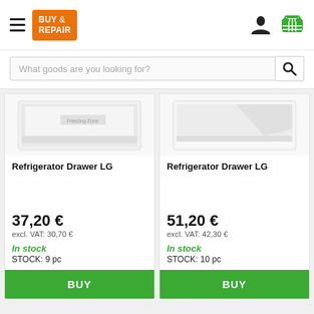[Figure (screenshot): E-commerce website header with hamburger menu, Buy & Repair logo, user icon, and shopping cart icon]
[Figure (screenshot): Search bar with placeholder text 'What goods are you looking for?' and search icon]
[Figure (photo): Refrigerator drawer product image - white plastic drawer with Freezing Zone label]
Refrigerator Drawer LG
37,20 €
excl. VAT:  30,70 €
In stock
STOCK: 9 pc
[Figure (photo): Refrigerator drawer product image - white plastic drawer part]
Refrigerator Drawer LG
51,20 €
excl. VAT:  42,30 €
In stock
STOCK: 10 pc